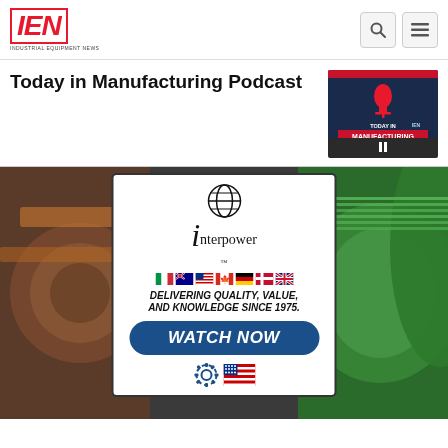IEN - Industrial Equipment News
Today in Manufacturing Podcast
[Figure (screenshot): Today in Manufacturing podcast logo/banner with microphone icon, dark navy background, text: TODAY IN MANUFACTURING, IEN, LIKE. LISTEN. SUBSCRIBE.]
[Figure (infographic): Interpower advertisement. Globe icon on top, large 'i' with 'interpower' text, country flags row (Italy, Australia, USA, Canada, Germany, Denmark, UK), bold italic text: DELIVERING QUALITY, VALUE, AND KNOWLEDGE SINCE 1975. Blue rounded button: WATCH NOW. Made in USA gear and flag icon at bottom. Background: photo of colored wire cable spools.]